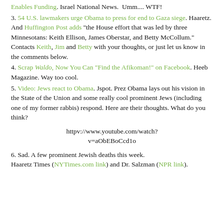Enables Funding. Israel National News.  Umm.... WTF!
3. 54 U.S. lawmakers urge Obama to press for end to Gaza siege. Haaretz. And Huffington Post adds "the House effort that was led by three Minnesotans: Keith Ellison, James Oberstar, and Betty McCollum." Contacts Keith, Jim and Betty with your thoughts, or just let us know in the comments below.
4. Scrap Waldo, Now You Can "Find the Afikoman!" on Facebook. Heeb Magazine. Way too cool.
5. Video: Jews react to Obama. Jspot. Prez Obama lays out his vision in the State of the Union and some really cool prominent Jews (including one of my former rabbis) respond. Here are their thoughts. What do you think?
httpv://www.youtube.com/watch?v=aObEBoCcd1o
6. Sad. A few prominent Jewish deaths this week.
Haaretz Times (NYTimes.com link) and Dr. Salzman (NPR link).